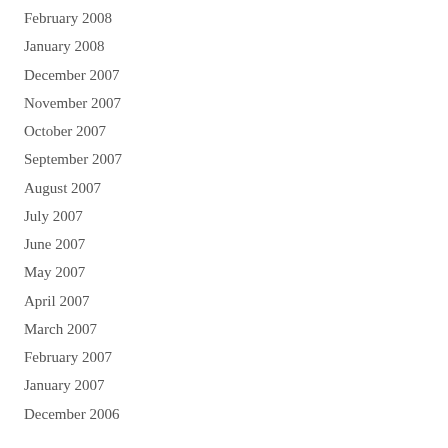February 2008
January 2008
December 2007
November 2007
October 2007
September 2007
August 2007
July 2007
June 2007
May 2007
April 2007
March 2007
February 2007
January 2007
December 2006